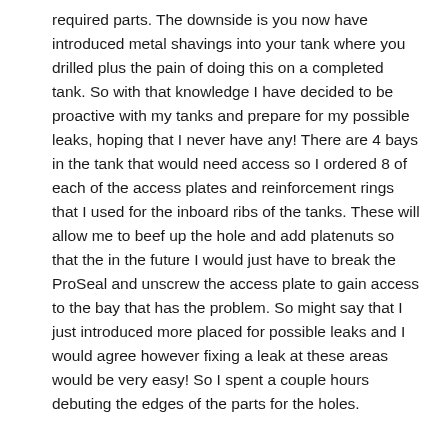required parts. The downside is you now have introduced metal shavings into your tank where you drilled plus the pain of doing this on a completed tank. So with that knowledge I have decided to be proactive with my tanks and prepare for my possible leaks, hoping that I never have any! There are 4 bays in the tank that would need access so I ordered 8 of each of the access plates and reinforcement rings that I used for the inboard ribs of the tanks. These will allow me to beef up the hole and add platenuts so that the in the future I would just have to break the ProSeal and unscrew the access plate to gain access to the bay that has the problem. So might say that I just introduced more placed for possible leaks and I would agree however fixing a leak at these areas would be very easy! So I spent a couple hours debuting the edges of the parts for the holes.